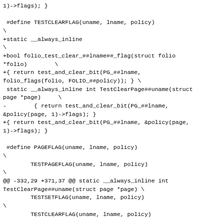1)->flags); }

 #define TESTCLEARFLAG(uname, lname, policy)	\
+static __always_inline					\
+bool folio_test_clear_##lname##_flag(struct folio *folio)	\
+{ return test_and_clear_bit(PG_##lname, folio_flags(folio, FOLIO_##policy)); } \
 static __always_inline int TestClearPage##uname(struct page *page)	\
-		{ return test_and_clear_bit(PG_##lname, &policy(page, 1)->flags); }
+{ return test_and_clear_bit(PG_##lname, &policy(page, 1)->flags); }

 #define PAGEFLAG(uname, lname, policy)			\
			TESTPAGEFLAG(uname, lname, policy)	\
@@ -332,29 +371,37 @@ static __always_inline int TestClearPage##uname(struct page *page) \
			TESTSETFLAG(uname, lname, policy)	\
			TESTCLEARFLAG(uname, lname, policy)

-#define TESTPAGEFLAG_FALSE(uname)			\

+#define TESTPAGEFLAG_FALSE(uname, lname)		\
\